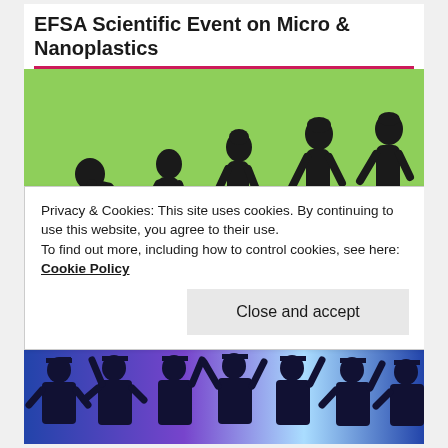EFSA Scientific Event on Micro & Nanoplastics
[Figure (illustration): Evolution of man illustration showing silhouettes progressing from ape to upright human walking, on a green background]
UNIVERSITIES, INSTITUTES, R&D CENTRES
Privacy & Cookies: This site uses cookies. By continuing to use this website, you agree to their use.
To find out more, including how to control cookies, see here: Cookie Policy
Close and accept
[Figure (photo): Group of graduates in caps and gowns celebrating with arms raised]